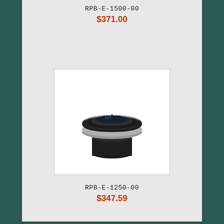RPB-E-1500-00
$371.00
[Figure (photo): Black anodized cylindrical lens mount/bushing with a silver metallic band and optical glass element, viewed from top-front angle]
RPB-E-1250-00
$347.59